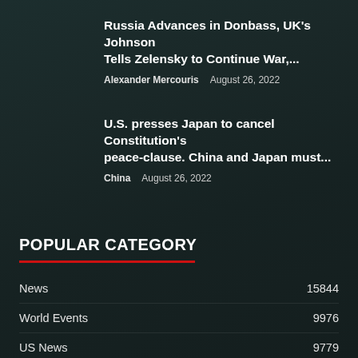Russia Advances in Donbass, UK's Johnson Tells Zelensky to Continue War,...
Alexander Mercouris   August 26, 2022
U.S. presses Japan to cancel Constitution's peace-clause. China and Japan must...
China   August 26, 2022
POPULAR CATEGORY
News   15844
World Events   9976
US News   9779
Politics   9658
Political Zoo   9627
DC Poltics   9376